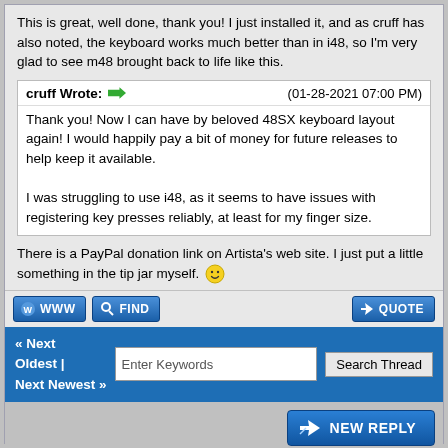This is great, well done, thank you! I just installed it, and as cruff has also noted, the keyboard works much better than in i48, so I'm very glad to see m48 brought back to life like this.
cruff Wrote: → (01-28-2021 07:00 PM)
Thank you! Now I can have by beloved 48SX keyboard layout again! I would happily pay a bit of money for future releases to help keep it available.

I was struggling to use i48, as it seems to have issues with registering key presses reliably, at least for my finger size.
There is a PayPal donation link on Artista's web site. I just put a little something in the tip jar myself. 🙂
WWW  FIND  QUOTE
« Next Oldest | Next Newest »
Enter Keywords  Search Thread
NEW REPLY